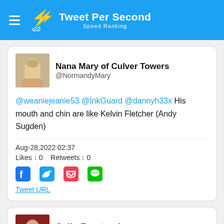Tweet Per Second — Speed Ranking
[Figure (screenshot): Tweet card for Nana Mary of Culver Towers (@NormandyMary) with profile photo]
@weaniejeanie53 @InkGuard @dannyh33x His mouth and chin are like Kelvin Fletcher (Andy Sugden)
Aug-28,2022 02:37
Likes：0   Retweets：0
Tweet URL
[Figure (screenshot): Tweet card for Colin Frontczak (@ColinFrontczak) with profile photo]